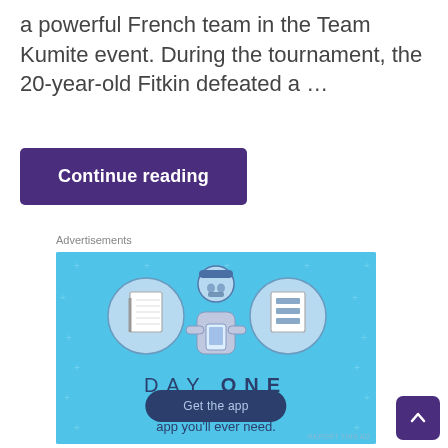a powerful French team in the Team Kumite event. During the tournament, the 20-year-old Fitkin defeated a …
Continue reading
Advertisements
[Figure (illustration): Day One journaling app advertisement on a light blue background. Shows a cartoon person holding a phone with two circular icons on either side (notebook and checklist). Text reads 'DAY ONE' and 'The only journaling app you'll ever need.' with a 'Get the app' button.]